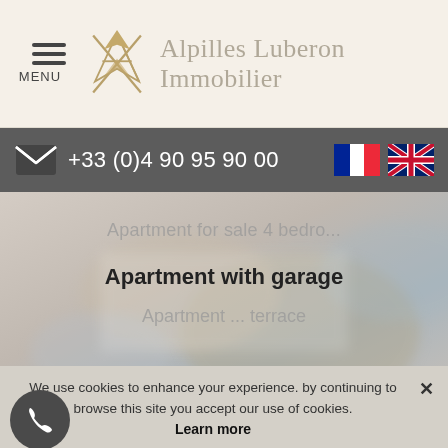MENU  Alpilles Luberon Immobilier
+33 (0)4 90 95 90 00
Apartment for sale 4 bedro...
Apartment with garage
Apartment ... terrace
[Figure (logo): ALI diamond logo with phone and email circular buttons and partial logo at bottom]
We use cookies to enhance your experience. by continuing to browse this site you accept our use of cookies.
Learn more